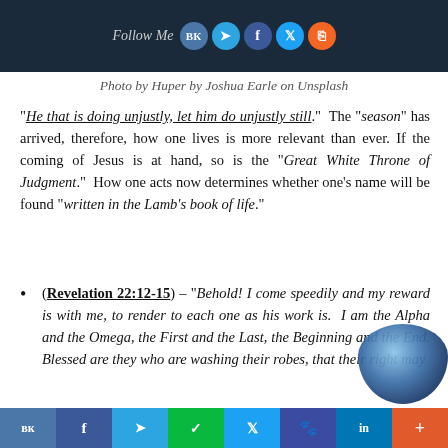[Figure (screenshot): Dark banner with 'Follow Me' text and social media icons (VK, Telegram, Facebook, Twitter, RSS)]
Photo by Huper by Joshua Earle on Unsplash
“He that is doing unjustly, let him do unjustly still.”  The “season” has arrived, therefore, how one lives is more relevant than ever. If the coming of Jesus is at hand, so is the “Great White Throne of Judgment.”  How one acts now determines whether one’s name will be found “written in the Lamb’s book of life.”
(Revelation 22:12-15) – “Behold! I come speedily and my reward is with me, to render to each one as his work is.  I am the Alpha and the Omega, the First and the Last, the Beginning and the End. Blessed are they who are washing their robes, that their right may… he
[Figure (illustration): Globe/sphere icon overlay in bottom right]
VK | f | Telegram | WeChat | Twitter | Paw | in | +